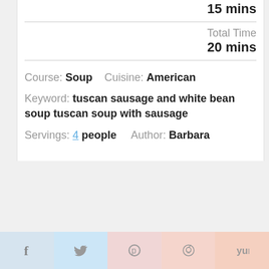15 mins
Total Time
20 mins
Course: Soup   Cuisine: American
Keyword: tuscan sausage and white bean soup tuscan soup with sausage
Servings: 4 people   Author: Barbara
Share buttons: Facebook, Twitter, Pinterest, Reddit, Yummly